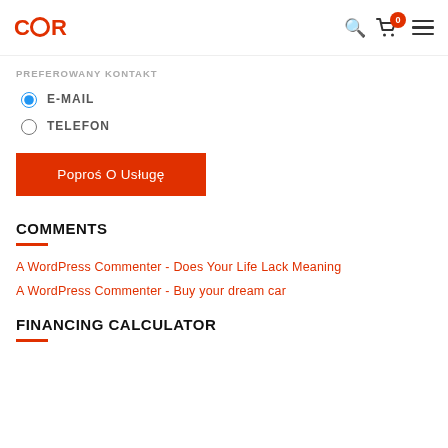CAR (logo with cart icon showing 0, search icon, menu icon)
PREFEROWANY KONTAKT
E-MAIL (selected radio button)
TELEFON (unselected radio button)
Poproś O Usługę
COMMENTS
A WordPress Commenter - Does Your Life Lack Meaning
A WordPress Commenter - Buy your dream car
FINANCING CALCULATOR